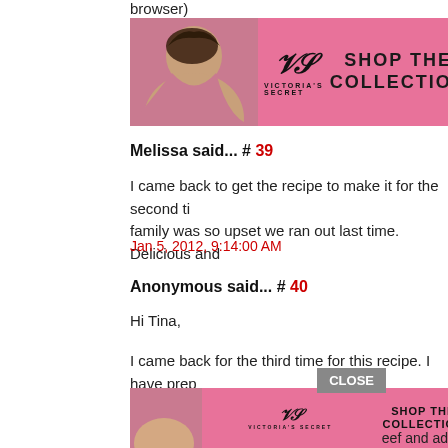browser)
[Figure (screenshot): Victoria's Secret advertisement banner with pink background, woman photo on left, VS logo in center, 'SHOP THE COLLECTION' text, and 'SHOP NOW' button]
Melissa said... # 39
I came back to get the recipe to make it for the second ti... family was so upset we ran out last time. Delicious and
Jan 5, 2012, 9:14:00 AM
Anonymous said... # 40
Hi Tina,
I came back for the third time for this recipe. I have prep... so when hubby gets home its ready. Thanks again Tina f... do without you:)
Mar 7, 2012, 2:01:00 PM
[Figure (screenshot): Victoria's Secret advertisement banner (second instance) with CLOSE button overlay, pink background, woman photo, VS logo, SHOP THE COLLECTION text, SHOP NOW button]